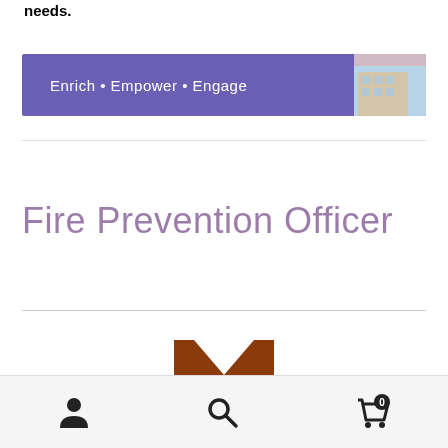needs.
[Figure (illustration): Purple banner with text 'Enrich • Empower • Engage' and a photo of a building on the right]
Fire Prevention Officer
[Figure (logo): Organization logo: brown letter M shape with green leaf/wave beneath it]
User icon, Search icon, Cart icon with badge 0